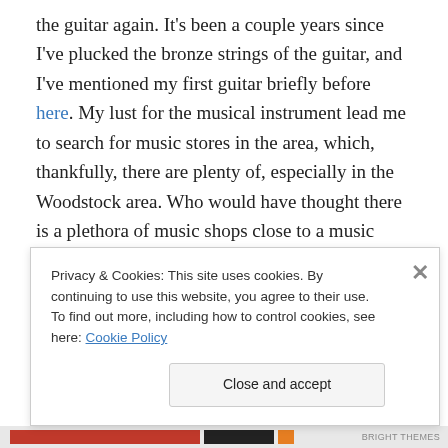the guitar again. It's been a couple years since I've plucked the bronze strings of the guitar, and I've mentioned my first guitar briefly before here. My lust for the musical instrument lead me to search for music stores in the area, which, thankfully, there are plenty of, especially in the Woodstock area. Who would have thought there is a plethora of music shops close to a music festival mecca?
When I entered the small music shop, I could not help but smile when I saw a couple of people strumming away in
Privacy & Cookies: This site uses cookies. By continuing to use this website, you agree to their use.
To find out more, including how to control cookies, see here: Cookie Policy
Close and accept